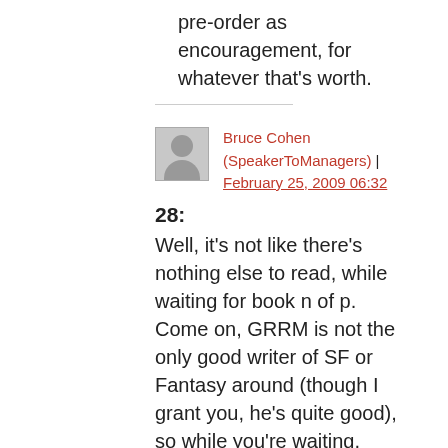pre-order as encouragement, for whatever that's worth.
Bruce Cohen (SpeakerToManagers) | February 25, 2009 06:32
28:
Well, it's not like there's nothing else to read, while waiting for book n of p. Come on, GRRM is not the only good writer of SF or Fantasy around (though I grant you, he's quite good), so while you're waiting, branch out a bit; you might be surprised by liking something you didn't